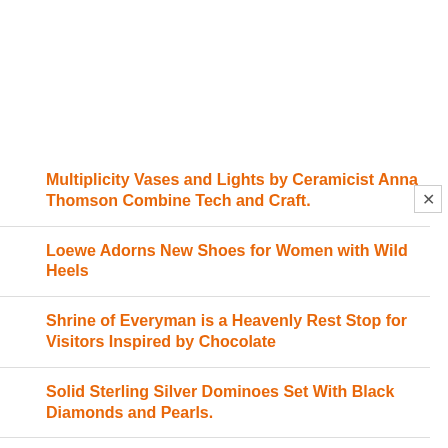Multiplicity Vases and Lights by Ceramicist Anna Thomson Combine Tech and Craft.
Loewe Adorns New Shoes for Women with Wild Heels
Shrine of Everyman is a Heavenly Rest Stop for Visitors Inspired by Chocolate
Solid Sterling Silver Dominoes Set With Black Diamonds and Pearls.
Tarform Motorcycles are Sustainable, Electric and Oh So Pretty. Luna Scrambler and Racer.
Bau Bau Dog Toilet with Poop Bag Dispenser, Waste Bin and Water Fountain
Monument Valley Butte-Inspired Dining and Console Tables of Bronze.